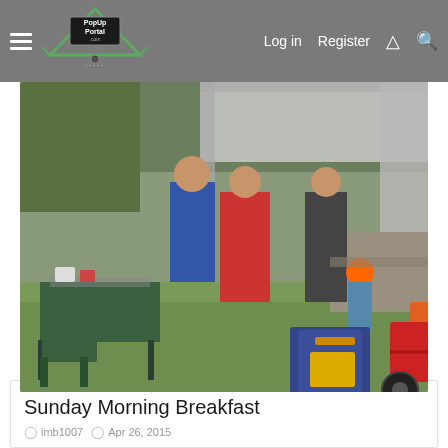PopUpPortal.com — Log in  Register
[Figure (photo): Outdoor camping breakfast scene with people gathered under a large canopy tent. Orange folding chairs, a red utility wagon, a dark blue plastic bin, camping tables with food, and green folding chairs visible on a grassy area.]
Sunday Morning Breakfast
imb1007 · Apr 26, 2015